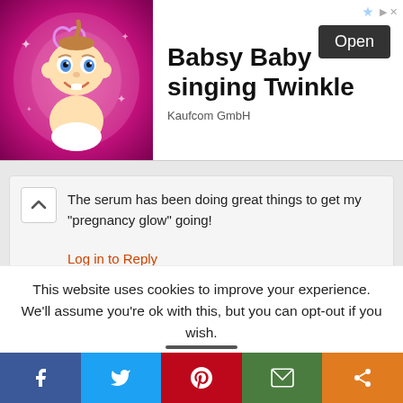[Figure (illustration): Advertisement banner: baby cartoon character with halo on pink background, text 'Babsy Baby singing Twinkle', Kaufcom GmbH, Open button]
The serum has been doing great things to get my “pregnancy glow” going!
Log in to Reply
Courtney B says
This website uses cookies to improve your experience. We’ll assume you’re ok with this, but you can opt-out if you wish.
[Figure (infographic): Social share bar with Facebook, Twitter, Pinterest, Email, and Share buttons]